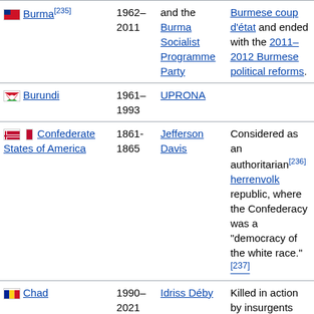| Country | Years | Leader/Party | Notes |
| --- | --- | --- | --- |
| Burma[235] | 1962–2011 | and the Burma Socialist Programme Party | Burmese coup d'état and ended with the 2011–2012 Burmese political reforms. |
| Burundi | 1961–1993 | UPRONA |  |
| Confederate States of America | 1861-1865 | Jefferson Davis | Considered as an authoritarian[236] herrenvolk republic, where the Confederacy was a "democracy of the white race."[237] |
| Chad | 1990–2021 | Idriss Déby | Killed in action by insurgents after 30 years of uninterrupted presidency[238]
It started with the CIA-backed 1973 Chilean |